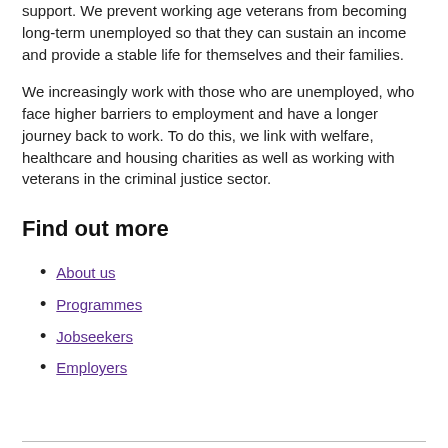support. We prevent working age veterans from becoming long-term unemployed so that they can sustain an income and provide a stable life for themselves and their families.
We increasingly work with those who are unemployed, who face higher barriers to employment and have a longer journey back to work. To do this, we link with welfare, healthcare and housing charities as well as working with veterans in the criminal justice sector.
Find out more
About us
Programmes
Jobseekers
Employers